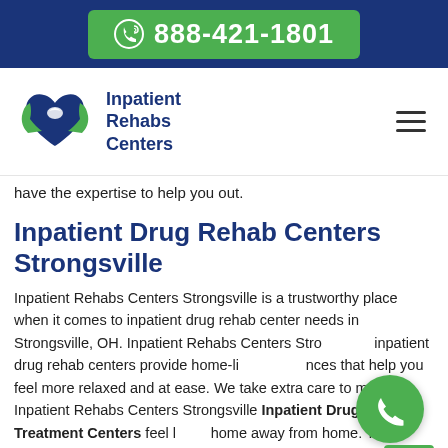888-421-1801
[Figure (logo): Inpatient Rehabs Centers logo with heart and green hands, blue text reading Inpatient Rehabs Centers]
have the expertise to help you out.
Inpatient Drug Rehab Centers Strongsville
Inpatient Rehabs Centers Strongsville is a trustworthy place when it comes to inpatient drug rehab center needs in Strongsville, OH. Inpatient Rehabs Centers Strongsville inpatient drug rehab centers provide home-like experiences that help you feel more relaxed and at ease. We take extra care to make Inpatient Rehabs Centers Strongsville Inpatient Drug Rehab Treatment Centers feel like a home away from home. The medical and clinical staff is always there to support and help you.